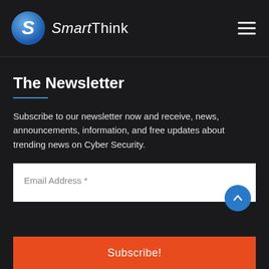SmartThink
The Newsletter
Subscribe to our newsletter now and receive, news, announcements, information, and free updates about trending news on Cyber Security.
Email Address *
Subscribe!